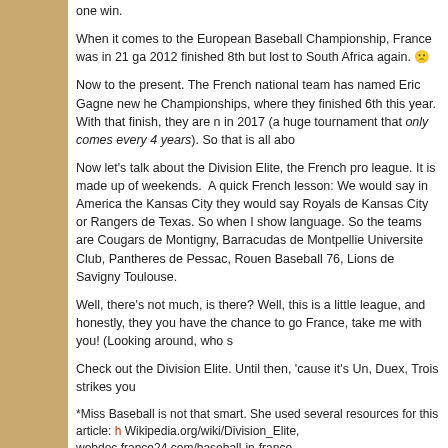one win.
When it comes to the European Baseball Championship, France was in 21 ga 2012 finished 8th but lost to South Africa again. 🙁
Now to the present. The French national team has named Eric Gagne new he Championships, where they finished 6th this year. With that finish, they are n in 2017 (a huge tournament that only comes every 4 years). So that is all abo
Now let's talk about the Division Elite, the French pro league. It is made up of weekends. A quick French lesson: We would say in America the Kansas City they would say Royals de Kansas City or Rangers de Texas. So when I show language. So the teams are Cougars de Montigny, Barracudas de Montpellie Universite Club, Pantheres de Pessac, Rouen Baseball 76, Lions de Savigny Toulouse.
Well, there's not much, is there? Well, this is a little league, and honestly, they you have the chance to go France, take me with you! (Looking around, who s
Check out the Division Elite. Until then, 'cause it's Un, Duex, Trois strikes you
*Miss Baseball is not that smart. She used several resources for this article: Wikipedia.org/wiki/Division_Elite, webdoc.france24.com/baseball-in-france, http://www.nytimes.com/2012/08/29/sports/baseball/baseball-in-france
Filed under Uncategorized and tagged Pray for Paris | Leave a comment